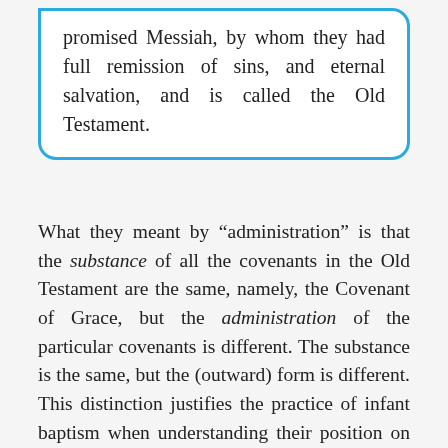promised Messiah, by whom they had full remission of sins, and eternal salvation, and is called the Old Testament.
What they meant by “administration” is that the substance of all the covenants in the Old Testament are the same, namely, the Covenant of Grace, but the administration of the particular covenants is different. The substance is the same, but the (outward) form is different. This distinction justifies the practice of infant baptism when understanding their position on the Covenant of Grace…it kind of makes sense. If the Abrahamic Covenant was an